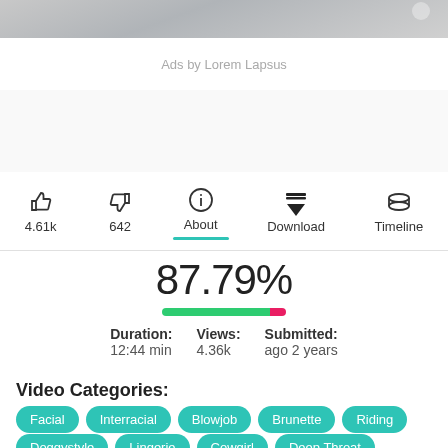[Figure (photo): Blurred/cropped top portion of a video thumbnail]
Ads by Lorem Lapsus
4.61k  642  About  Download  Timeline
87.79%
Duration: 12:44 min  Views: 4.36k  Submitted: ago 2 years
Video Categories:
Facial
Interracial
Blowjob
Brunette
Riding
Doggystyle
Lingerie
Cowgirl
Deep Throat